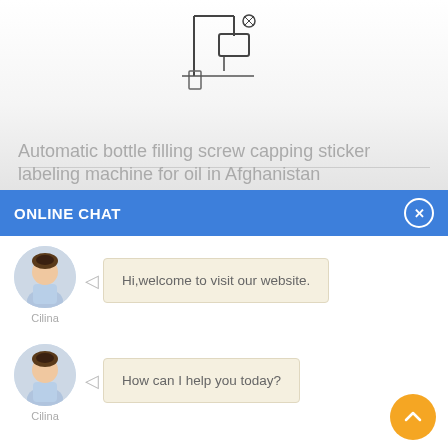[Figure (photo): Partial product image of an automatic bottle filling screw capping sticker labeling machine shown at the top of the page]
Automatic bottle filling screw capping sticker labeling machine for oil in Afghanistan
ONLINE CHAT
[Figure (photo): Avatar photo of a female chat agent named Cilina in a blue shirt]
Hi,welcome to visit our website.
Cilina
[Figure (photo): Avatar photo of a female chat agent named Cilina in a blue shirt (second message)]
How can I help you today?
Cilina